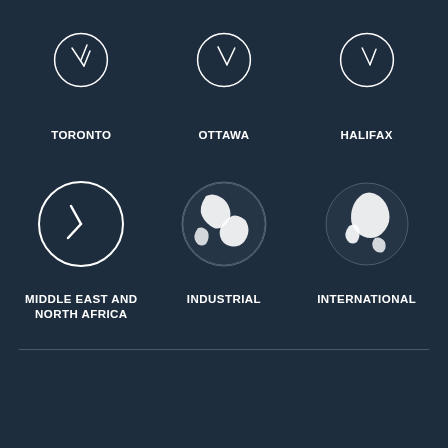[Figure (illustration): Partial icon of Toronto (clock or compass) cropped at top]
TORONTO
[Figure (illustration): Partial icon of Ottawa (similar circular icon) cropped at top]
OTTAWA
[Figure (illustration): Partial icon of Halifax (similar circular icon) cropped at top]
HALIFAX
[Figure (illustration): Clock icon representing Middle East and North Africa]
MIDDLE EAST AND NORTH AFRICA
[Figure (illustration): Globe icon representing Industrial]
INDUSTRIAL
[Figure (illustration): Globe icon representing International]
INTERNATIONAL